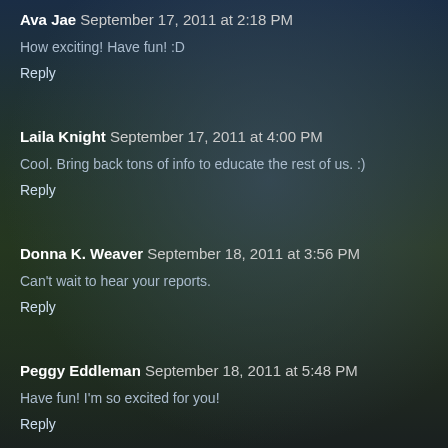Ava Jae  September 17, 2011 at 2:18 PM
How exciting! Have fun! :D
Reply
Laila Knight  September 17, 2011 at 4:00 PM
Cool. Bring back tons of info to educate the rest of us. :)
Reply
Donna K. Weaver  September 18, 2011 at 3:56 PM
Can't wait to hear your reports.
Reply
Peggy Eddleman  September 18, 2011 at 5:48 PM
Have fun! I'm so excited for you!
Reply